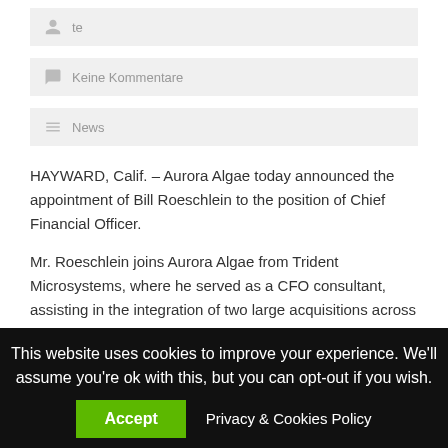te
Keine Kommentare
News
HAYWARD, Calif. – Aurora Algae today announced the appointment of Bill Roeschlein to the position of Chief Financial Officer.
Mr. Roeschlein joins Aurora Algae from Trident Microsystems, where he served as a CFO consultant, assisting in the integration of two large acquisitions across three continents. Prior to that, he was
This website uses cookies to improve your experience. We'll assume you're ok with this, but you can opt-out if you wish.
Accept
Privacy & Cookies Policy